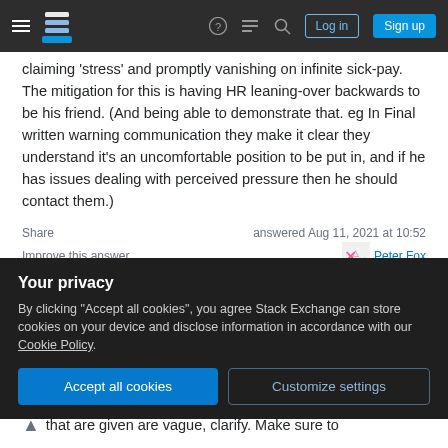Stack Exchange navigation bar with hamburger menu, logo, help, chat, search, Log in, Sign up buttons
claiming 'stress' and promptly vanishing on infinite sick-pay. The mitigation for this is having HR leaning-over backwards to be his friend. (And being able to demonstrate that. eg In Final written warning communication they make it clear they understand it's an uncomfortable position to be put in, and if he has issues dealing with perceived pressure then he should contact them.)
Share   answered Aug 11, 2021 at 10:52
Improve this answer   Peter Fox
Your privacy
By clicking "Accept all cookies", you agree Stack Exchange can store cookies on your device and disclose information in accordance with our Cookie Policy.
Accept all cookies   Customize settings
that are given are vague, clarify. Make sure to